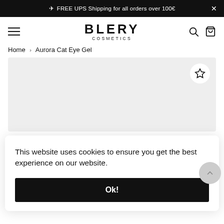✈ FREE UPS Shipping for all orders over 100€  ×
BLERY COSMETICS
Home > Aurora Cat Eye Gel
[Figure (screenshot): Product image placeholder area with a circular wishlist (star) button in the top-right corner]
This website uses cookies to ensure you get the best experience on our website.
Ok!